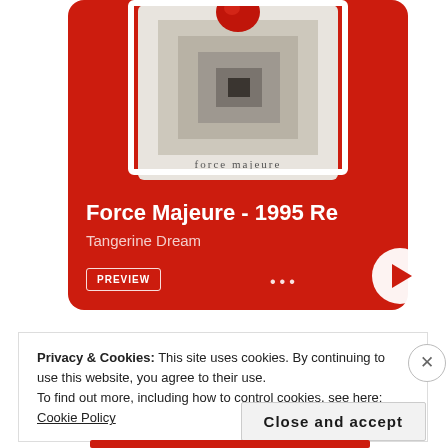[Figure (screenshot): Music streaming card with red background showing Force Majeure album art by Tangerine Dream, with PREVIEW button, dots menu, and play button]
Force Majeure - 1995 Re
Tangerine Dream
Privacy & Cookies: This site uses cookies. By continuing to use this website, you agree to their use. To find out more, including how to control cookies, see here: Cookie Policy
Close and accept